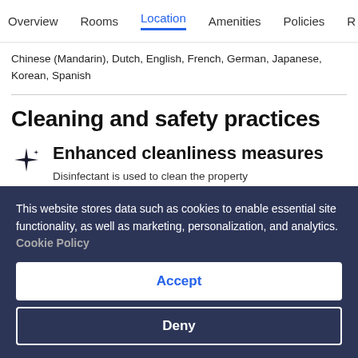Overview  Rooms  Location  Amenities  Policies
Chinese (Mandarin), Dutch, English, French, German, Japanese, Korean, Spanish
Cleaning and safety practices
Enhanced cleanliness measures
Disinfectant is used to clean the property
High-touch surfaces are cleaned and disinfected
This website stores data such as cookies to enable essential site functionality, as well as marketing, personalization, and analytics. Cookie Policy
Accept
Deny